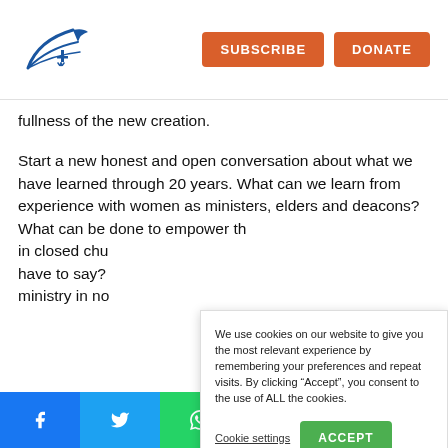Subscribe | Donate
fullness of the new creation.
Start a new honest and open conversation about what we have learned through 20 years. What can we learn from experience with women as ministers, elders and deacons? What can be done to empower th... in closed chu... have to say? ministry in no...
We use cookies on our website to give you the most relevant experience by remembering your preferences and repeat visits. By clicking “Accept”, you consent to the use of ALL the cookies.
Cookie settings | ACCEPT
Create space...
Facebook | Twitter | WhatsApp | LinkedIn | Email | +